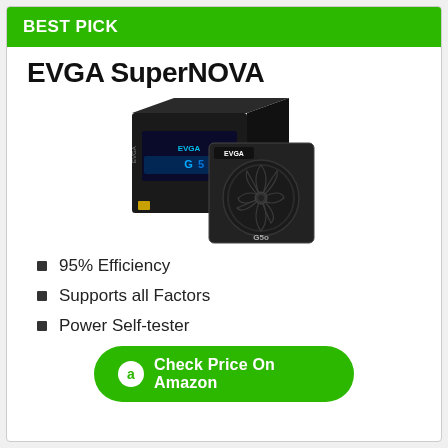BEST PICK
EVGA SuperNOVA
[Figure (photo): EVGA SuperNOVA product image showing a black box with blue LED text and a black power supply unit with a large fan labeled G5o]
95% Efficiency
Supports all Factors
Power Self-tester
Check Price On Amazon